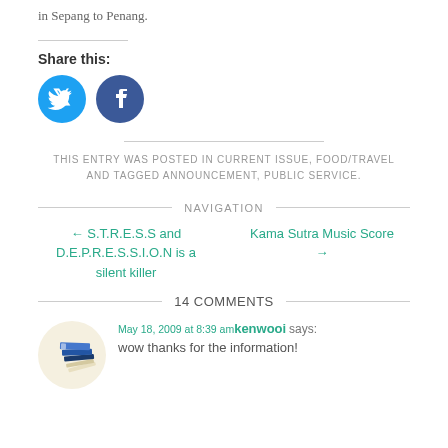in Sepang to Penang.
Share this:
[Figure (illustration): Twitter and Facebook circular social share buttons in cyan/blue]
THIS ENTRY WAS POSTED IN CURRENT ISSUE, FOOD/TRAVEL AND TAGGED ANNOUNCEMENT, PUBLIC SERVICE.
NAVIGATION
← S.T.R.E.S.S and D.E.P.R.E.S.S.I.O.N is a silent killer
Kama Sutra Music Score →
14 COMMENTS
[Figure (logo): Blog avatar/logo with stacked blue and beige book pages]
May 18, 2009 at 8:39 am kenwooi says:
wow thanks for the information!